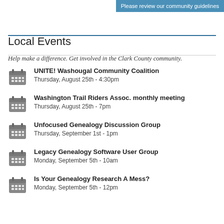Please review our community guidelines
Local Events
Help make a difference. Get involved in the Clark County community.
UNITE! Washougal Community Coalition
Thursday, August 25th - 4:30pm
Washington Trail Riders Assoc. monthly meeting
Thursday, August 25th - 7pm
Unfocused Genealogy Discussion Group
Thursday, September 1st - 1pm
Legacy Genealogy Software User Group
Monday, September 5th - 10am
Is Your Genealogy Research A Mess?
Monday, September 5th - 12pm